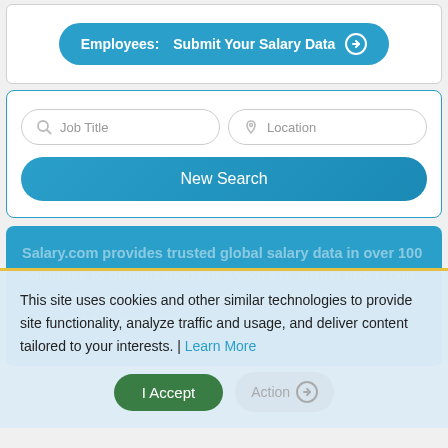[Figure (screenshot): Button: Employees: Submit Your Salary Data with arrow circle icon]
[Figure (screenshot): Search form with Job Title and Location input fields and a New Search button]
Salary.com provides trusted global salary data in over 100 countries to organizations like yours to attract and retain talent. Our network covers more than 25,000 unique job titles and 600 organizations.
This site uses cookies and other similar technologies to provide site functionality, analyze traffic and usage, and deliver content tailored to your interests. | Learn More
[Figure (screenshot): I Accept button (green) and Take Action button with arrow]